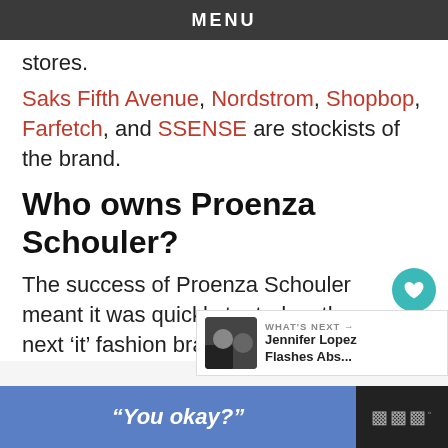MENU
stores.
Saks Fifth Avenue, Nordstrom, Shopbop, Farfetch, and SSENSE are stockists of the brand.
Who owns Proenza Schouler?
The success of Proenza Schouler meant it was quickly touted as the next ‘it’ fashion brand.
[Figure (screenshot): What's Next promotional bar with photo of Jennifer Lopez and text 'Jennifer Lopez Flashes Abs...']
[Figure (screenshot): Advertisement bar at bottom: blue section with italic text '"You okay?"' and dark section with tidal logo marks]